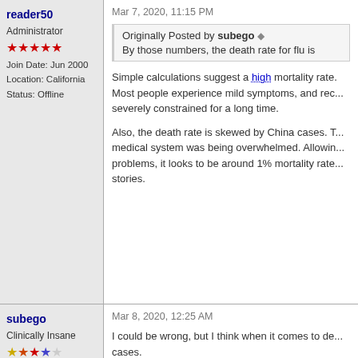reader50
Administrator
Join Date: Jun 2000
Location: California
Status: Offline
Mar 7, 2020, 11:15 PM
Originally Posted by subego
By those numbers, the death rate for flu is
Simple calculations suggest a high mortality rate. Most people experience mild symptoms, and rec... severely constrained for a long time.

Also, the death rate is skewed by China cases. T... medical system was being overwhelmed. Allowin... problems, it looks to be around 1% mortality rate... stories.
subego
Clinically Insane
Join Date: Jun 2001
Location: Chicago, Bang! Bang!
Status: Offline
Mar 8, 2020, 12:25 AM
I could be wrong, but I think when it comes to de... cases.

I think the useful statistic here is chance of dying